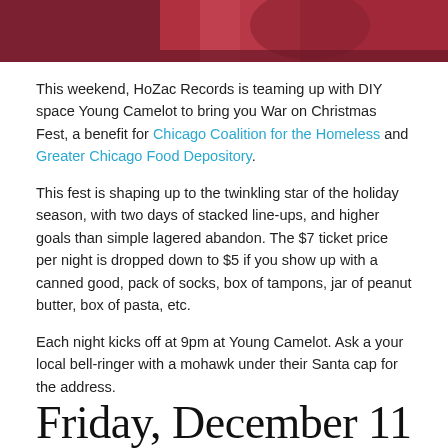[Figure (photo): Partial photo strip at the top of the page showing a person with red hair against a red/dark background]
This weekend, HoZac Records is teaming up with DIY space Young Camelot to bring you War on Christmas Fest, a benefit for Chicago Coalition for the Homeless and Greater Chicago Food Depository.
This fest is shaping up to the twinkling star of the holiday season, with two days of stacked line-ups, and higher goals than simple lagered abandon. The $7 ticket price per night is dropped down to $5 if you show up with a canned good, pack of socks, box of tampons, jar of peanut butter, box of pasta, etc.
Each night kicks off at 9pm at Young Camelot. Ask a your local bell-ringer with a mohawk under their Santa cap for the address.
Friday, December 11